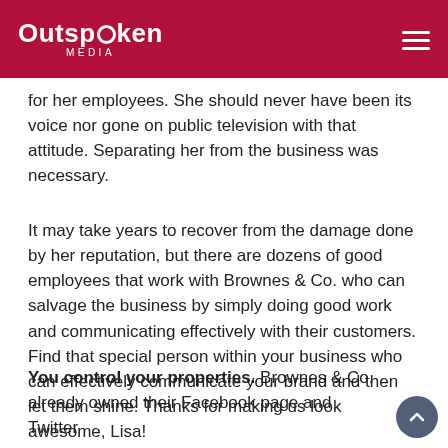Outspoken Media
for her employees. She should never have been its voice nor gone on public television with that attitude. Separating her from the business was necessary.
It may take years to recover from the damage done by her reputation, but there are dozens of good employees that work with Brownes & Co. who can salvage the business by simply doing good work and communicating effectively with their customers. Find that special person within your business who can effectively communicate your brand and then let them shine. Thanks for making us look awesome, Lisa!
You control your properties. Brownes & Co. already owned their Facebook page and Twitter